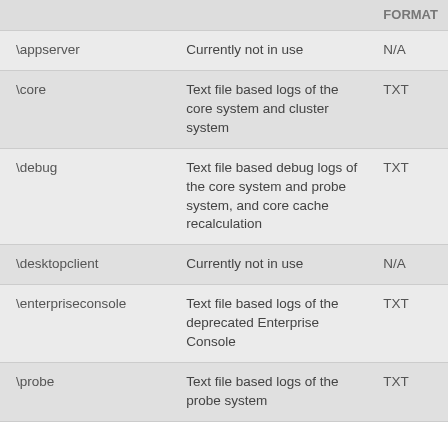|  |  | FORMAT |
| --- | --- | --- |
| \appserver | Currently not in use | N/A |
| \core | Text file based logs of the core system and cluster system | TXT |
| \debug | Text file based debug logs of the core system and probe system, and core cache recalculation | TXT |
| \desktopclient | Currently not in use | N/A |
| \enterpriseconsole | Text file based logs of the deprecated Enterprise Console | TXT |
| \probe | Text file based logs of the probe system | TXT |